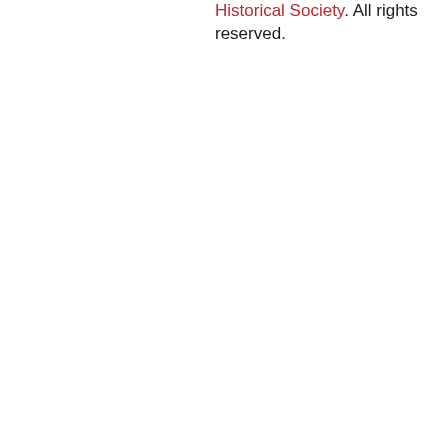Historical Society. All rights reserved.